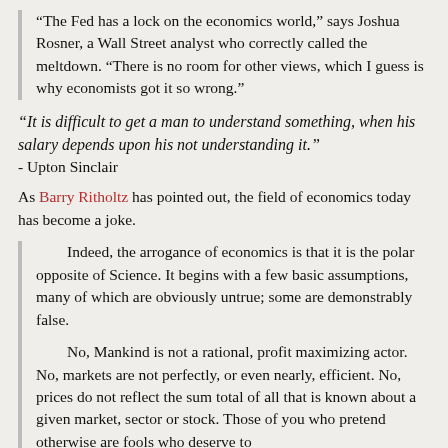"The Fed has a lock on the economics world," says Joshua Rosner, a Wall Street analyst who correctly called the meltdown. "There is no room for other views, which I guess is why economists got it so wrong."
"It is difficult to get a man to understand something, when his salary depends upon his not understanding it."
- Upton Sinclair
As Barry Ritholtz has pointed out, the field of economics today has become a joke.
Indeed, the arrogance of economics is that it is the polar opposite of Science. It begins with a few basic assumptions, many of which are obviously untrue; some are demonstrably false.
No, Mankind is not a rational, profit maximizing actor. No, markets are not perfectly, or even nearly, efficient. No, prices do not reflect the sum total of all that is known about a given market, sector or stock. Those of you who pretend otherwise are fools who deserve to